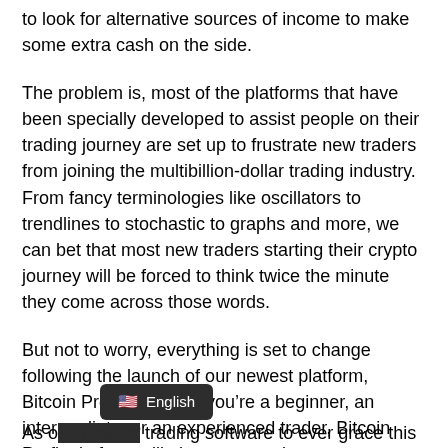to look for alternative sources of income to make some extra cash on the side.
The problem is, most of the platforms that have been specially developed to assist people on their trading journey are set up to frustrate new traders from joining the multibillion-dollar trading industry. From fancy terminologies like oscillators to trendlines to stochastic to graphs and more, we can bet that most new traders starting their crypto journey will be forced to think twice the minute they come across those words.
But not to worry, everything is set to change following the launch of our newest platform, Bitcoin Profit. Whether you're a beginner, an intermediate, or an experienced trader, Bitcoin Profit platform will give you an advantage over others who just jump into the crypto space with no guidance or idea.
As o[ur newest] trading software to ever grace this